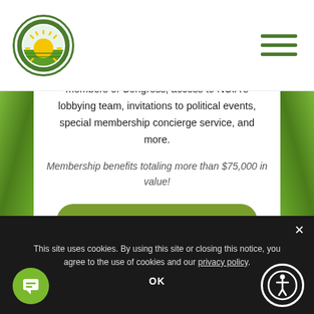National Cannabis Industry Association logo and navigation
with exclusive access to private briefings from members of Congress, access to NCIA's lobbying team, invitations to political events, special membership concierge service, and more.
Membership benefits totaling more than $75,000 in value!
VIEW PAYMENT OPTIONS
This site uses cookies. By using this site or closing this notice, you agree to the use of cookies and our privacy policy.
OK